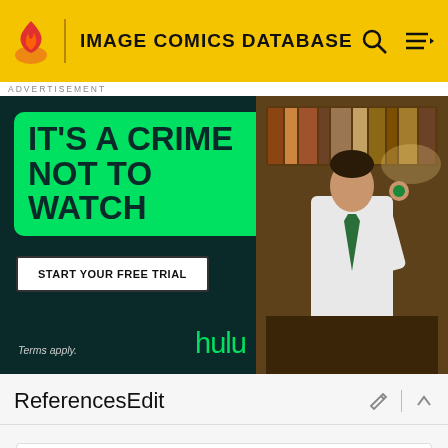IMAGE COMICS DATABASE
[Figure (screenshot): Hulu advertisement banner: 'IT'S A CRIME NOT TO WATCH' with START YOUR FREE TRIAL button, Hulu branding, and a photo of a young man in a library setting]
ReferencesEdit
| Try Your Luck |
| --- |
| Random Character |
| Random Comic |
| Random Creator |